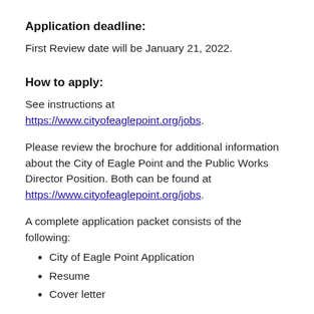Application deadline:
First Review date will be January 21, 2022.
How to apply:
See instructions at https://www.cityofeaglepoint.org/jobs.
Please review the brochure for additional information about the City of Eagle Point and the Public Works Director Position. Both can be found at https://www.cityofeaglepoint.org/jobs.
A complete application packet consists of the following:
City of Eagle Point Application
Resume
Cover letter